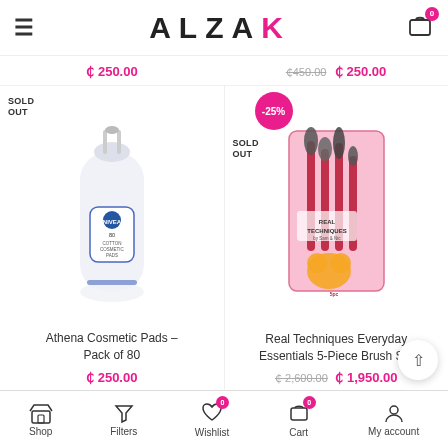ALZAK — shop header with logo, menu and cart
₵ 250.00 (left price strip)
₵450.00 ₵ 250.00 (right price strip)
[Figure (photo): Athena Cosmetic Pads pack of 80, white cylindrical bag with blue label. SOLD OUT badge top-left.]
Athena Cosmetic Pads – Pack of 80
₵ 250.00
[Figure (photo): Real Techniques Everyday Essentials 5-Piece Brush Set in pink packaging. -25% discount badge and SOLD OUT label.]
Real Techniques Everyday Essentials 5-Piece Brush Set
₵ 2,600.00  ₵ 1,950.00
Shop | Filters | Wishlist 0 | Cart 0 | My account